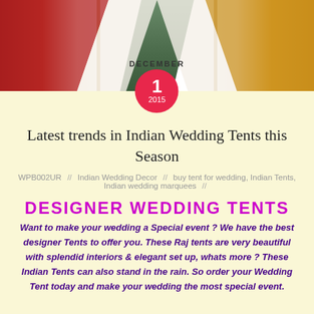[Figure (photo): Wedding tent scene with red and white draped fabric tents on grass, Indian wedding decor]
DECEMBER 1 2015
Latest trends in Indian Wedding Tents this Season
WPB002UR // Indian Wedding Decor // buy tent for wedding, Indian Tents, Indian wedding marquees
DESIGNER WEDDING TENTS
Want to make your wedding a Special event ? We have the best designer Tents to offer you. These Raj tents are very beautiful with splendid interiors & elegant set up, whats more ? These Indian Tents can also stand in the rain. So order your Wedding Tent today and make your wedding the most special event.